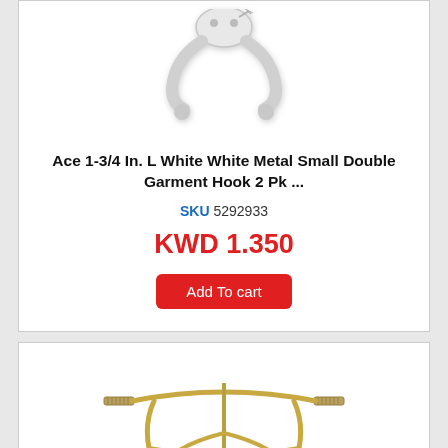[Figure (photo): White metal small double garment hook product photo on white background]
Ace 1-3/4 In. L White White Metal Small Double Garment Hook 2 Pk ...
SKU 5292933
KWD 1.350
Add To cart
[Figure (photo): Gold/brass metal double coat hook product photo on white background]